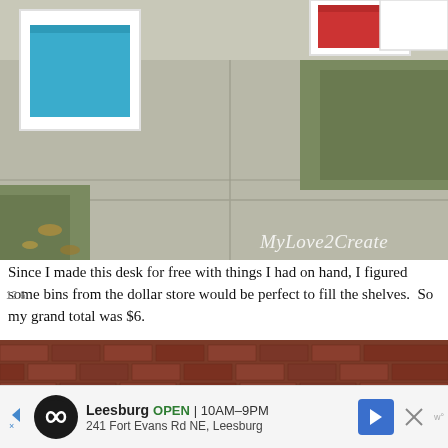[Figure (photo): Outdoor photo of white cubby shelves with colorful bins (blue and red) placed on a concrete patio/sidewalk, with grass and foliage in the background. Watermark text 'MyLove2Create' in bottom right corner.]
Since I made this desk for free with things I had on hand, I figured some bins from the dollar store would be perfect to fill the shelves.  So my grand total was $6.
[Figure (photo): Close-up photo of a white wooden shelf unit with X-brace detail in the middle section, placed outdoors against a brick wall. Blue bin visible on left side, red bin on right side.]
Leesburg  OPEN | 10AM–9PM
241 Fort Evans Rd NE, Leesburg